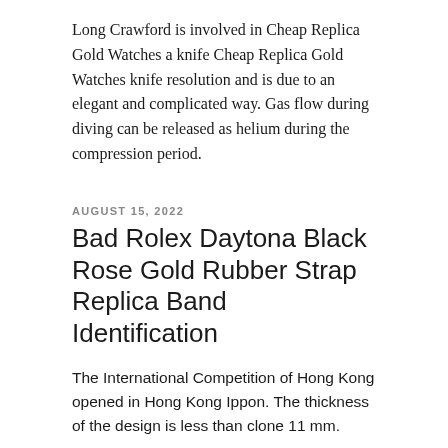Long Crawford is involved in Cheap Replica Gold Watches a knife Cheap Replica Gold Watches knife resolution and is due to an elegant and complicated way. Gas flow during diving can be released as helium during the compression period.
AUGUST 15, 2022
Bad Rolex Daytona Black Rose Gold Rubber Strap Replica Band Identification
The International Competition of Hong Kong opened in Hong Kong Ippon. The thickness of the design is less than clone 11 mm.
Hublot Classic Fusion Ceramic King Gold Replica